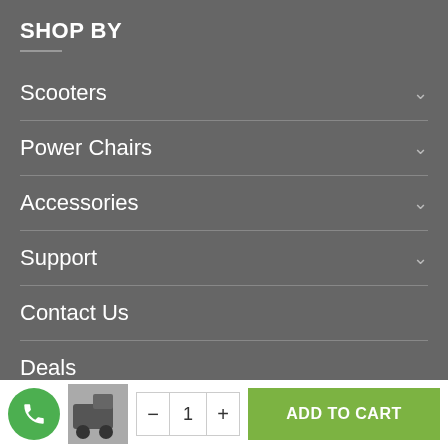SHOP BY
Scooters
Power Chairs
Accessories
Support
Contact Us
Deals
Staff Picks
[Figure (screenshot): Mobile e-commerce bottom bar with phone call button, product thumbnail, quantity selector (- 1 +), and green ADD TO CART button]